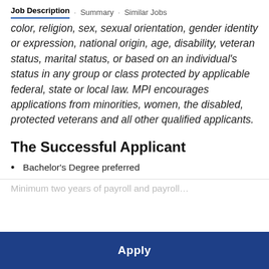Job Description · Summary · Similar Jobs
color, religion, sex, sexual orientation, gender identity or expression, national origin, age, disability, veteran status, marital status, or based on an individual's status in any group or class protected by applicable federal, state or local law. MPI encourages applications from minorities, women, the disabled, protected veterans and all other qualified applicants.
The Successful Applicant
Bachelor's Degree preferred
Minimum two years of payroll and payroll…
Apply